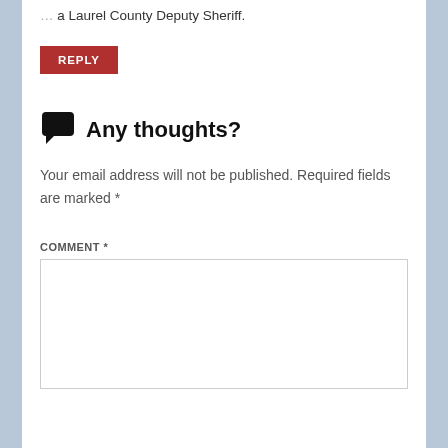a Laurel County Deputy Sheriff.
REPLY
Any thoughts?
Your email address will not be published. Required fields are marked *
COMMENT *